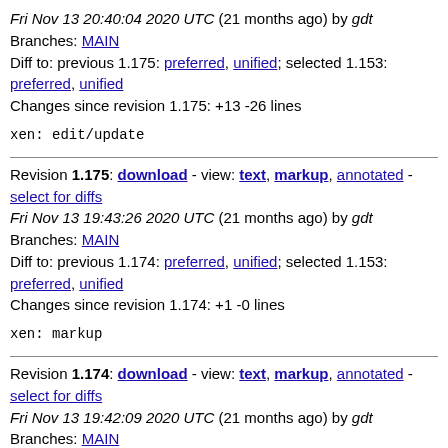Fri Nov 13 20:40:04 2020 UTC (21 months ago) by gdt
Branches: MAIN
Diff to: previous 1.175: preferred, unified; selected 1.153:
preferred, unified
Changes since revision 1.175: +13 -26 lines
xen: edit/update
Revision 1.175: download - view: text, markup, annotated - select for diffs
Fri Nov 13 19:43:26 2020 UTC (21 months ago) by gdt
Branches: MAIN
Diff to: previous 1.174: preferred, unified; selected 1.153:
preferred, unified
Changes since revision 1.174: +1 -0 lines
xen: markup
Revision 1.174: download - view: text, markup, annotated - select for diffs
Fri Nov 13 19:42:09 2020 UTC (21 months ago) by gdt
Branches: MAIN
Diff to: previous 1.173: preferred, unified; selected 1.153:
preferred, unified
Changes since revision 1.173: +3 -3 lines